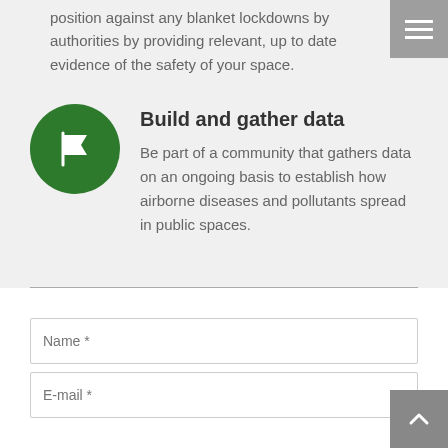position against any blanket lockdowns by authorities by providing relevant, up to date evidence of the safety of your space.
Build and gather data
Be part of a community that gathers data on an ongoing basis to establish how airborne diseases and pollutants spread in public spaces.
[Figure (illustration): White flag icon on green circle background]
[Figure (screenshot): Name input field with placeholder 'Name *']
[Figure (screenshot): E-mail input field with placeholder 'E-mail *']